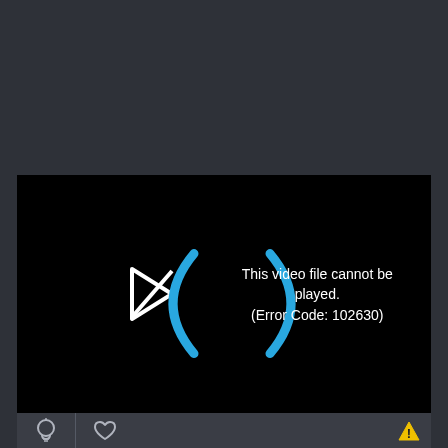[Figure (screenshot): Video player showing error message: 'This video file cannot be played. (Error Code: 102630)' with a play icon crossed out and blue parentheses brackets, on a black background.]
This video file cannot be played. (Error Code: 102630)
[Figure (screenshot): Bottom toolbar with lightbulb icon, heart icon, warning triangle icon, and a server/HD selector bar showing 'Server 1' and 'HD' button.]
Server 1
HD